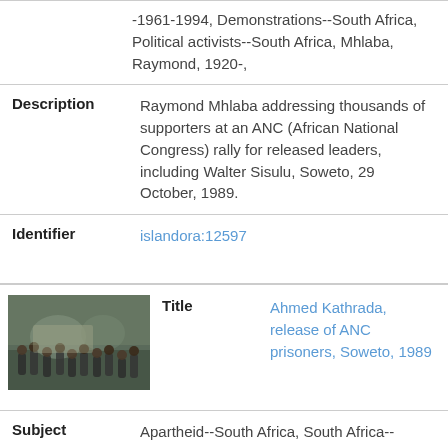-1961-1994, Demonstrations--South Africa, Political activists--South Africa, Mhlaba, Raymond, 1920-,
Description: Raymond Mhlaba addressing thousands of supporters at an ANC (African National Congress) rally for released leaders, including Walter Sisulu, Soweto, 29 October, 1989.
Identifier: islandora:12597
[Figure (photo): Thumbnail photograph of people at a rally, ANC prisoners release event in Soweto 1989]
Title: Ahmed Kathrada, release of ANC prisoners, Soweto, 1989
Subject: Apartheid--South Africa, South Africa--Politics and government--1978-1989, South Africa--History--1961-1994, Political activists--South Africa, Political leadership--South Africa, Political prisoners--South Africa, Kathrada, A. M. (Ahmad M.),
Description: Ahmed Kathrada arrives at an ANC